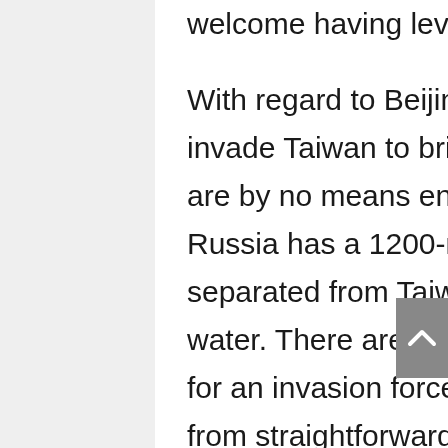welcome having levelled against it. With regard to Beijing's often stated willingness to invade Taiwan to bring it under their control, such plans are by no means entirely straightforward. Whereas Russia has a 1200-mile land boundary, China is separated from Taiwan by a hundred miles of turbulent water. There are also very few suitable landing places for an invasion force in Taiwan making the operation far from straightforward. In all probability, it might well be a